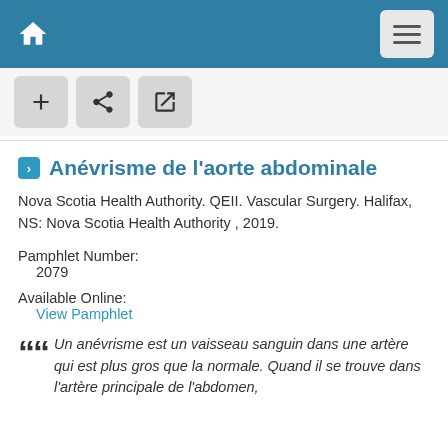Navigation bar with home icon and menu button
[Figure (screenshot): Action buttons row with plus, share, and external link icons on grey background]
Anévrisme de l'aorte abdominale
Nova Scotia Health Authority. QEII. Vascular Surgery. Halifax, NS: Nova Scotia Health Authority , 2019.
Pamphlet Number:
2079
Available Online:
View Pamphlet
Un anévrisme est un vaisseau sanguin dans une artère qui est plus gros que la normale. Quand il se trouve dans l'artère principale de l'abdomen,